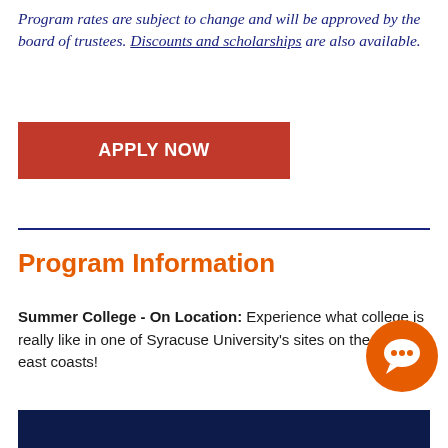Program rates are subject to change and will be approved by the board of trustees. Discounts and scholarships are also available.
[Figure (other): Orange 'APPLY NOW' button]
Program Information
Summer College - On Location: Experience what college is really like in one of Syracuse University's sites on the west or east coasts!
[Figure (other): Orange circular chat/comment icon in bottom right area]
[Figure (other): Dark navy blue banner at the bottom of the page]